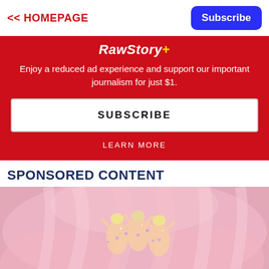<< HOMEPAGE
Subscribe
RawStory+
Enjoy a reduced ad experience and support our important journalism for just $1.
SUBSCRIBE
LEARN MORE
SPONSORED CONTENT
[Figure (photo): Pink feathery background with Barbie-like dolls decorated with rhinestones arranged in a cluster]